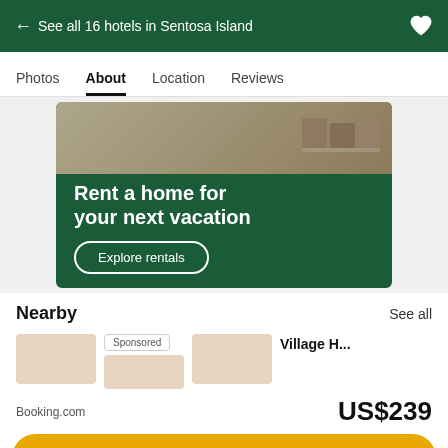← See all 16 hotels in Sentosa Island
Photos  About  Location  Reviews
[Figure (photo): Advertisement banner with photo of outdoor furniture and text: Rent a home for your next vacation, with Explore rentals button]
Nearby
See all
[Figure (photo): Nearby hotel card images row with Sponsored badge and Village Hotel text]
Booking.com
US$239
View deal
Visit hotel website ↗